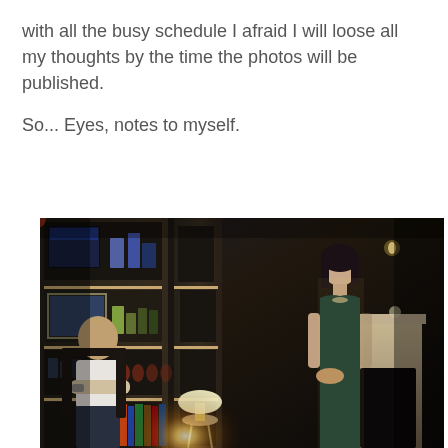with all the busy schedule I afraid I will loose all my thoughts by the time the photos will be published.
So... Eyes, notes to myself.
[Figure (photo): A dimly lit living room scene with a man seated on a chair with arms crossed on the left, a glowing lamp on a small table in the center, and a woman standing in a dark teal dress on the right. Behind the man is a large built-in bookshelf with books and decorative items. A fireplace mantel is visible on the right side.]